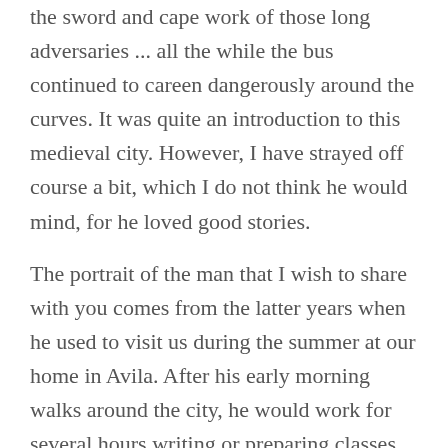the sword and cape work of those long adversaries ... all the while the bus continued to careen dangerously around the curves. It was quite an introduction to this medieval city. However, I have strayed off course a bit, which I do not think he would mind, for he loved good stories.
The portrait of the man that I wish to share with you comes from the latter years when he used to visit us during the summer at our home in Avila. After his early morning walks around the city, he would work for several hours writing or preparing classes and then go down to our garden, which he especially enjoyed, and would spend time reading two or three different Spanish daily newspapers by the pool. During these visits, there were many memorable conversations and moments, but three stand out in